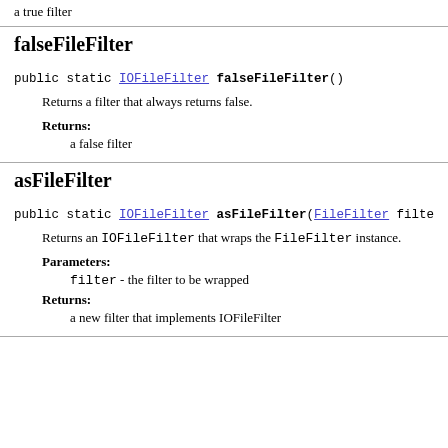a true filter
falseFileFilter
public static IOFileFilter falseFileFilter()
Returns a filter that always returns false.
Returns:
a false filter
asFileFilter
public static IOFileFilter asFileFilter(FileFilter filter
Returns an IOFileFilter that wraps the FileFilter instance.
Parameters:
filter - the filter to be wrapped
Returns:
a new filter that implements IOFileFilter